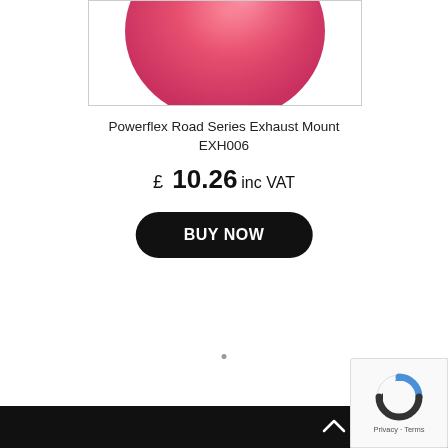[Figure (photo): Partial product image of a pink/rose-colored exhaust mount rubber bush, cropped at top, showing the bottom curved portion against white background]
Powerflex Road Series Exhaust Mount EXH006
£ 10.26 inc VAT
BUY NOW
Privacy · Terms